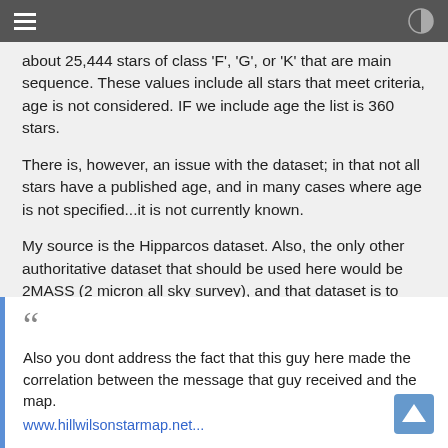about 25,444 stars of class 'F', 'G', or 'K' that are main sequence. These values include all stars that meet criteria, age is not considered. IF we include age the list is 360 stars.
There is, however, an issue with the dataset; in that not all stars have a published age, and in many cases where age is not specified...it is not currently known.
My source is the Hipparcos dataset. Also, the only other authoritative dataset that should be used here would be 2MASS (2 micron all sky survey), and that dataset is to large to be handled by commercial database tools (it's over 150GB)...I have it, but not installed...
Also you dont address the fact that this guy here made the correlation between the message that guy received and the map.
www.hillwilsonstarmap.net...